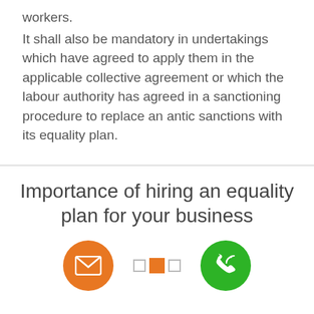workers.
It shall also be mandatory in undertakings which have agreed to apply them in the applicable collective agreement or which the labour authority has agreed in a sanctioning procedure to replace an antic sanctions with its equality plan.
Importance of hiring an equality plan for your business
[Figure (infographic): Orange email icon circle, three horizontal dots (two small grey squares and one larger orange square), and a green phone icon circle]